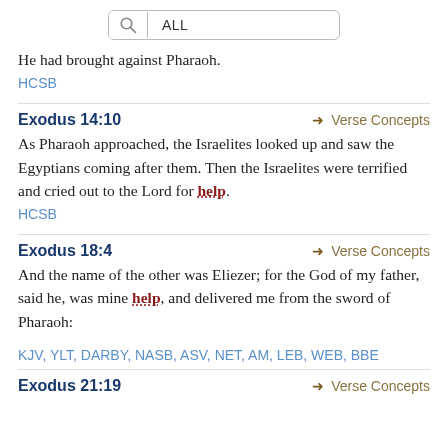[Figure (screenshot): Search bar with magnifying glass icon and ALL button]
He had brought against Pharaoh.
HCSB
Exodus 14:10
Verse Concepts
As Pharaoh approached, the Israelites looked up and saw the Egyptians coming after them. Then the Israelites were terrified and cried out to the Lord for help.
HCSB
Exodus 18:4
Verse Concepts
And the name of the other was Eliezer; for the God of my father, said he, was mine help, and delivered me from the sword of Pharaoh:
KJV, YLT, DARBY, NASB, ASV, NET, AM, LEB, WEB, BBE
Exodus 21:19
Verse Concepts